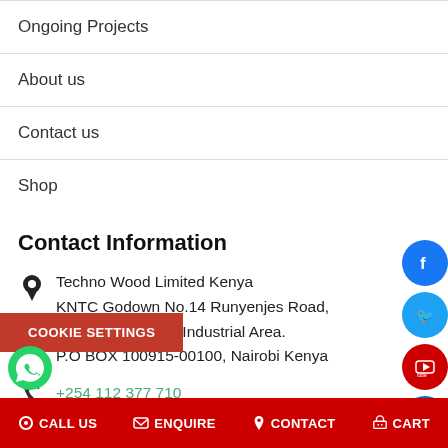Ongoing Projects
About us
Contact us
Shop
Contact Information
Techno Wood Limited Kenya
KNTC Godown No.14 Runyenjes Road,
Off Nanyuki Road Industrial Area.
P.O BOX 100915-00100, Nairobi Kenya
+254 112 377 710
+254 112 377 710
+254 724 003 933
+254 728 437 000
COOKIE SETTINGS
CALL US  ENQUIRE  CONTACT  CART